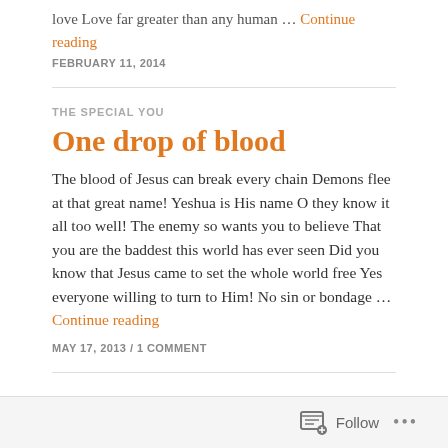love Love far greater than any human … Continue reading
FEBRUARY 11, 2014
THE SPECIAL YOU
One drop of blood
The blood of Jesus can break every chain Demons flee at that great name! Yeshua is His name O they know it all too well! The enemy so wants you to believe That you are the baddest this world has ever seen Did you know that Jesus came to set the whole world free Yes everyone willing to turn to Him! No sin or bondage … Continue reading
MAY 17, 2013 / 1 COMMENT
Follow